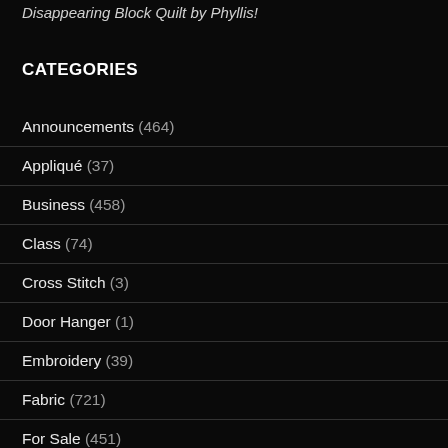Disappearing Block Quilt by Phyllis!
CATEGORIES
Announcements (464)
Appliqué (37)
Business (458)
Class (74)
Cross Stitch (3)
Door Hanger (1)
Embroidery (39)
Fabric (721)
For Sale (451)